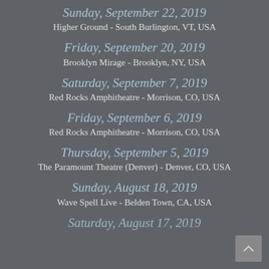Sunday, September 22, 2019
Higher Ground - South Burlington, VT, USA
Friday, September 20, 2019
Brooklyn Mirage - Brooklyn, NY, USA
Saturday, September 7, 2019
Red Rocks Amphitheatre - Morrison, CO, USA
Friday, September 6, 2019
Red Rocks Amphitheatre - Morrison, CO, USA
Thursday, September 5, 2019
The Paramount Theatre (Denver) - Denver, CO, USA
Sunday, August 18, 2019
Wave Spell Live - Belden Town, CA, USA
Saturday, August 17, 2019